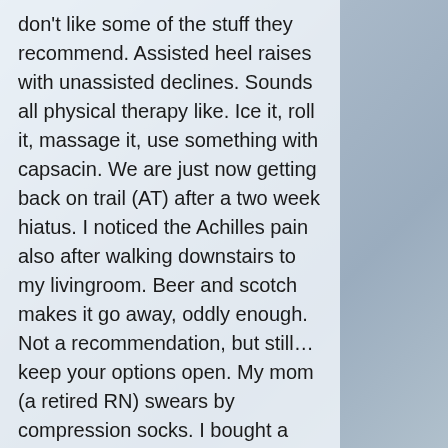don't like some of the stuff they recommend. Assisted heel raises with unassisted declines. Sounds all physical therapy like. Ice it, roll it, massage it, use something with capsacin. We are just now getting back on trail (AT) after a two week hiatus. I noticed the Achilles pain also after walking downstairs to my livingroom. Beer and scotch makes it go away, oddly enough. Not a recommendation, but still... keep your options open. My mom (a retired RN) swears by compression socks. I bought a pair at the start of my hike and I must say they do make a difference. Not much to look at (geriatric lookin'), but there might be something there.